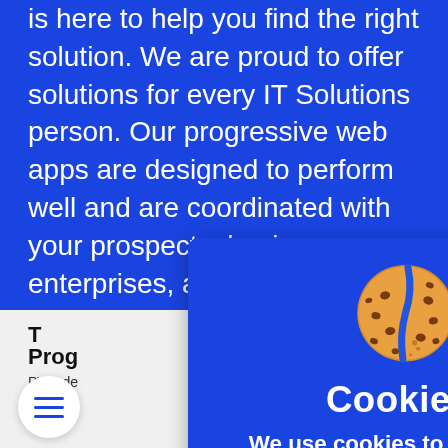is here to help you find the right solution. We are proud to offer solutions for every IT Solutions person. Our progressive web apps are designed to perform well and are coordinated with your prospects, businesses, enterprises, and individuals; we will also provide flexible and manageable apps that will allow you to grow and thrive at your scale and management. We are the best progressive web ap
The Progressive
PWA de... date we...
[Figure (screenshot): Cookie consent modal popup with blue background, a broken cookie emoji icon, title 'Cookies!', body text 'We use cookies to make your experience better', and two buttons: 'ACCEPT COOKIES' and 'LEARN MORE']